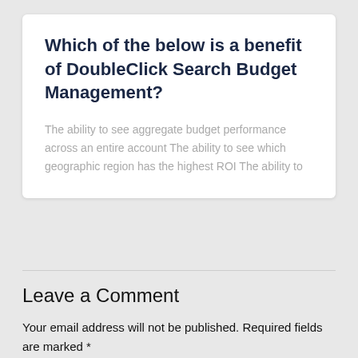Which of the below is a benefit of DoubleClick Search Budget Management?
The ability to see aggregate budget performance across an entire account The ability to see which geographic region has the highest ROI The ability to
Leave a Comment
Your email address will not be published. Required fields are marked *